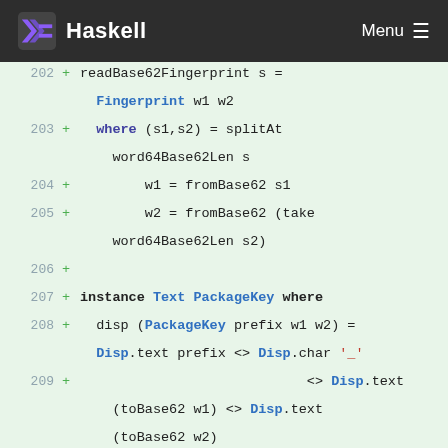Haskell  Menu
[Figure (screenshot): Haskell code diff showing lines 202-214 with green background, displaying readBase62Fingerprint, instance Text PackageKey where, and related Haskell source code]